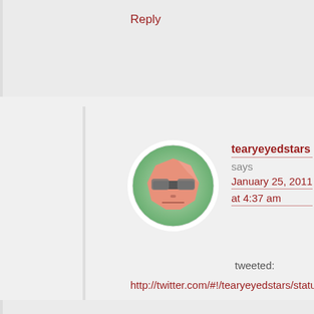Reply
[Figure (illustration): Avatar icon: cartoon octagon-shaped face with grumpy expression, salmon/pink color, dark sunglasses, set inside a circular green-gradient border on white background]
tearyeyedstars says January 25, 2011 at 4:37 am
tweeted: http://twitter.com/#!/tearyeyedstars/status/29 teary.eyed.stars@hotmail.com
Reply